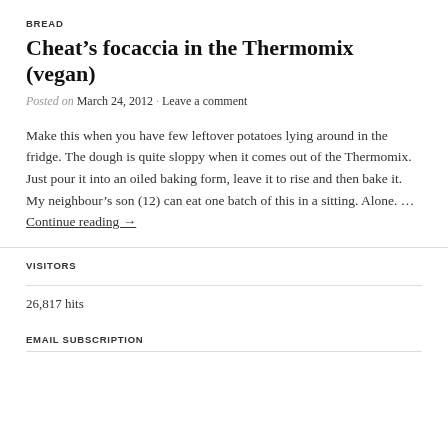BREAD
Cheat's focaccia in the Thermomix (vegan)
Posted on March 24, 2012 · Leave a comment
Make this when you have few leftover potatoes lying around in the fridge. The dough is quite sloppy when it comes out of the Thermomix. Just pour it into an oiled baking form, leave it to rise and then bake it. My neighbour's son (12) can eat one batch of this in a sitting. Alone. … Continue reading →
VISITORS
26,817 hits
EMAIL SUBSCRIPTION